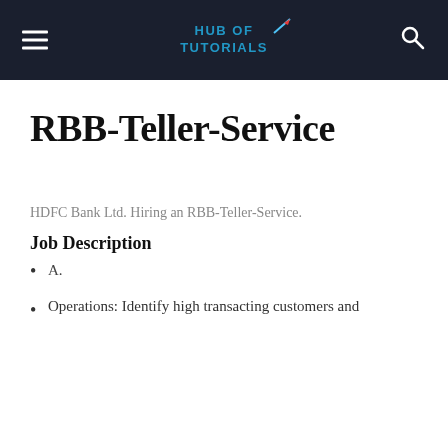HUB OF TUTORIALS
RBB-Teller-Service
HDFC Bank Ltd. Hiring an RBB-Teller-Service.
Job Description
A.
Operations: Identify high transacting customers and